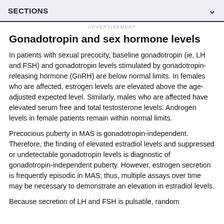SECTIONS
ADVERTISEMENT
Gonadotropin and sex hormone levels
In patients with sexual precocity, baseline gonadotropin (ie, LH and FSH) and gonadotropin levels stimulated by gonadotropin-releasing hormone (GnRH) are below normal limits. In females who are affected, estrogen levels are elevated above the age-adjusted expected level. Similarly, males who are affected have elevated serum free and total testosterone levels. Androgen levels in female patients remain within normal limits.
Precocious puberty in MAS is gonadotropin-independent. Therefore, the finding of elevated estradiol levels and suppressed or undetectable gonadotropin levels is diagnostic of gonadotropin-independent puberty. However, estrogen secretion is frequently episodic in MAS; thus, multiple assays over time may be necessary to demonstrate an elevation in estradiol levels.
Because secretion of LH and FSH is pulsatile, random